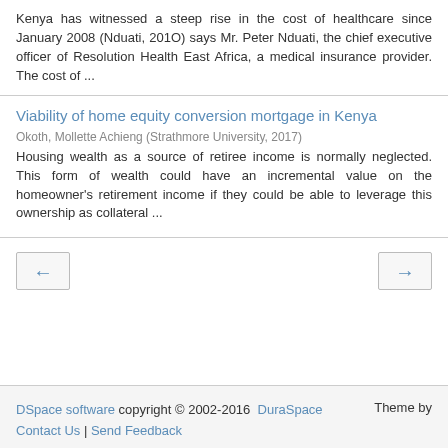Kenya has witnessed a steep rise in the cost of healthcare since January 2008 (Nduati, 201O) says Mr. Peter Nduati, the chief executive officer of Resolution Health East Africa, a medical insurance provider. The cost of ...
Viability of home equity conversion mortgage in Kenya
Okoth, Mollette Achieng (Strathmore University, 2017)
Housing wealth as a source of retiree income is normally neglected. This form of wealth could have an incremental value on the homeowner's retirement income if they could be able to leverage this ownership as collateral ...
[Figure (other): Navigation buttons: left arrow (previous) and right arrow (next)]
DSpace software copyright © 2002-2016  DuraSpace  Contact Us | Send Feedback  Theme by